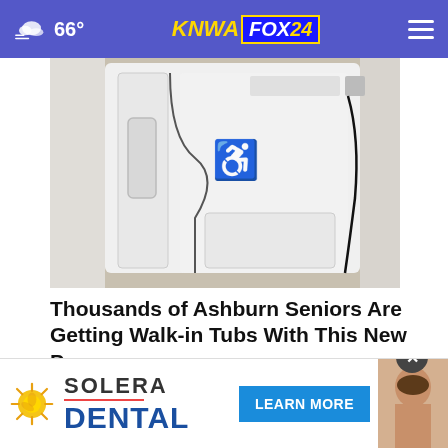66° KNWA FOX 24
[Figure (photo): Walk-in tub with disability access symbol, white bathtub with step-in door]
Thousands of Ashburn Seniors Are Getting Walk-in Tubs With This New Program
Smart Consumer Update
[Figure (photo): Roofing or construction photo showing damaged wooden boards]
[Figure (infographic): Solera Dental advertisement banner with LEARN MORE button and woman photo]